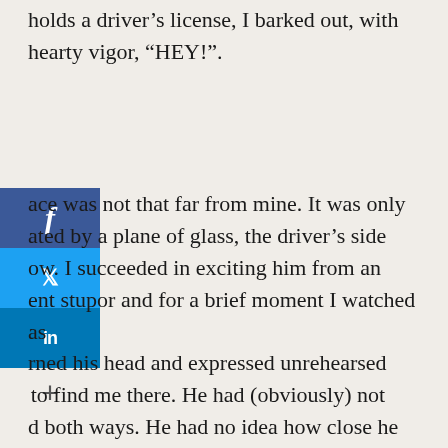holds a driver's license, I barked out, with hearty vigor, “HEY!”.
ace was not that far from mine. It was only ated by a plane of glass, the driver’s side ow. I succeeded in exciting him from an ent stupor and for a brief moment I watched as rned his head and expressed unrehearsed to find me there. He had (obviously) not d both ways. He had no idea how close he came to hitting me. I mean, what if I was going 3 MPH? It could have been all over (for my toes, at least).